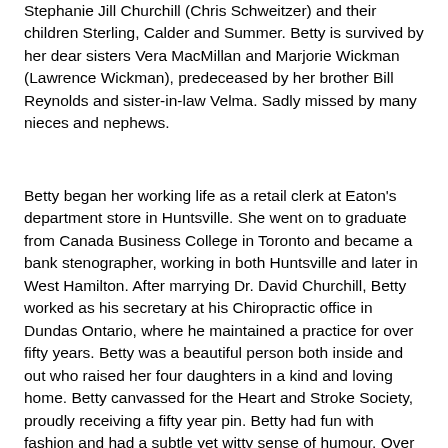Stephanie Jill Churchill (Chris Schweitzer) and their children Sterling, Calder and Summer. Betty is survived by her dear sisters Vera MacMillan and Marjorie Wickman (Lawrence Wickman), predeceased by her brother Bill Reynolds and sister-in-law Velma. Sadly missed by many nieces and nephews.
Betty began her working life as a retail clerk at Eaton's department store in Huntsville. She went on to graduate from Canada Business College in Toronto and became a bank stenographer, working in both Huntsville and later in West Hamilton. After marrying Dr. David Churchill, Betty worked as his secretary at his Chiropractic office in Dundas Ontario, where he maintained a practice for over fifty years. Betty was a beautiful person both inside and out who raised her four daughters in a kind and loving home. Betty canvassed for the Heart and Stroke Society, proudly receiving a fifty year pin. Betty had fun with fashion and had a subtle yet witty sense of humour. Over the years she displayed her artistic talent through ceramics, sewing and knitting. Betty loved to curl and along with her husband, was a long time member of the Granite Curling Club in Dundas where she rose to the position